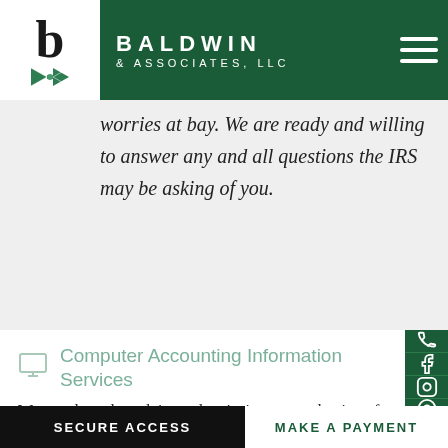BALDWIN & ASSOCIATES, LLC
worries at bay. We are ready and willing to answer any and all questions the IRS may be asking of you.
Computer Accounting Information Services
We are pleased to advise and assist in your evaluation of accounting information systems.
SECURE ACCESS | MAKE A PAYMENT